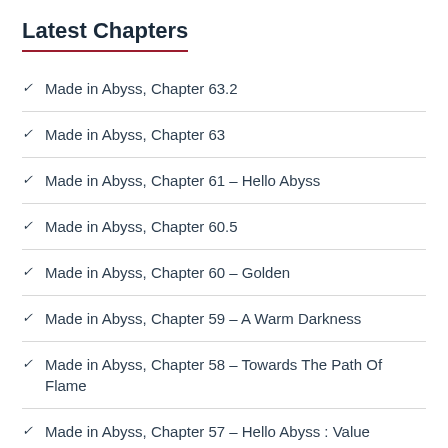Latest Chapters
Made in Abyss, Chapter 63.2
Made in Abyss, Chapter 63
Made in Abyss, Chapter 61 – Hello Abyss
Made in Abyss, Chapter 60.5
Made in Abyss, Chapter 60 – Golden
Made in Abyss, Chapter 59 – A Warm Darkness
Made in Abyss, Chapter 58 – Towards The Path Of Flame
Made in Abyss, Chapter 57 – Hello Abyss : Value